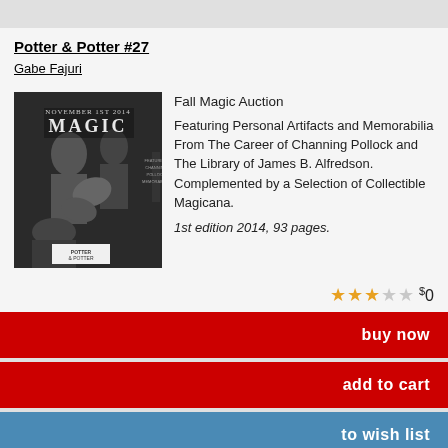Potter & Potter #27
Gabe Fajuri
[Figure (photo): Black and white book cover showing magician and woman, titled MAGIC, November 1st 2014]
Fall Magic Auction
Featuring Personal Artifacts and Memorabilia From The Career of Channing Pollock and The Library of James B. Alfredson. Complemented by a Selection of Collectible Magicana.
1st edition 2014, 93 pages.
★★★☆☆ $0
buy now
add to cart
to wish list